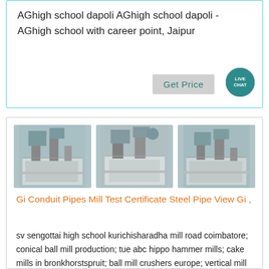AGhigh school dapoli AGhigh school dapoli - AGhigh school with career point, Jaipur
[Figure (other): Get Price button with Live Chat speech bubble icon]
[Figure (photo): Three industrial mill/factory equipment photos shown side by side]
Gi Conduit Pipes Mill Test Certificate Steel Pipe View Gi ,
sv sengottai high school kurichisharadha mill road coimbatore; conical ball mill production; tue abc hippo hammer mills; cake mills in bronkhorstspruit; ball mill crushers europe; vertical mill used for coal grinding; waterjet millihg machines; fri review vertical milling machine; sarrswat bank mill enquiry; open steel mill in